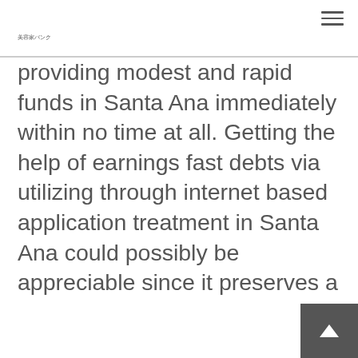美容家バンク
providing modest and rapid funds in Santa Ana immediately within no time at all. Getting the help of earnings fast debts via utilizing through internet based application treatment in Santa Ana could possibly be appreciable since it preserves a lot of your efforts in Santa Ana and initiatives. One never must have to await long in standing in long queues in Santa Ana. Only hunt the higher and affordable earnings this is certainly online loan loan provider and complete somebody on the web cash advance pay day loans progr